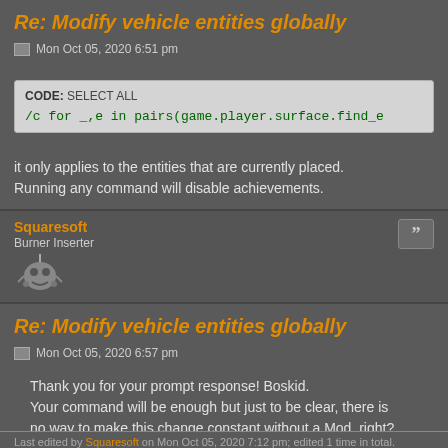Re: Modify vehicle entities globally
Mon Oct 05, 2020 6:51 pm
CODE: SELECT ALL
/c for _,e in pairs(game.player.surface.find_e
it only applies to the entities that are currently placed. Running any command will disable achievements.
Squaresoft
Burner Inserter
Re: Modify vehicle entities globally
Mon Oct 05, 2020 6:57 pm
Thank you for your prompt response! Boskid.
Your command will be enough but just to be clear, there is no way to make this change constant without a Mod, right?
Last edited by Squaresoft on Mon Oct 05, 2020 7:12 pm; edited 1 time in total.